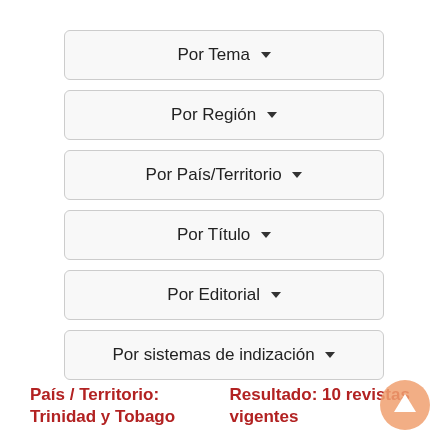Por Tema ▾
Por Región ▾
Por País/Territorio ▾
Por Título ▾
Por Editorial ▾
Por sistemas de indización ▾
País / Territorio: Trinidad y Tobago
Resultado: 10 revistas vigentes